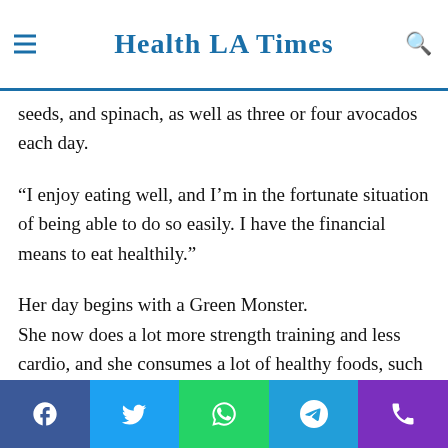Health LA Times
seeds, and spinach, as well as three or four avocados each day.
“I enjoy eating well, and I’m in the fortunate situation of being able to do so easily. I have the financial means to eat healthily.”
Her day begins with a Green Monster.
She now does a lot more strength training and less cardio, and she consumes a lot of healthy foods, such as a “green monster” smoothie with apple, kiwi, lemon, broccoli, chia seeds, and spinach, as well as three or four avocados each day.
Social share bar: Facebook, Twitter, WhatsApp, Telegram, Phone